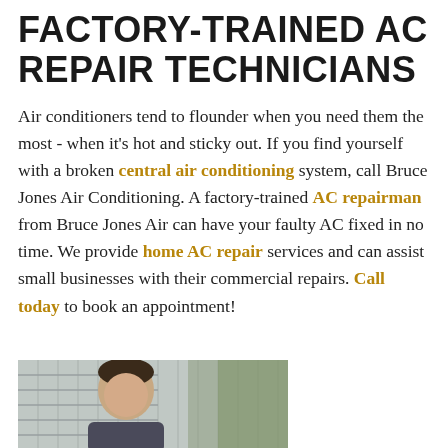FACTORY-TRAINED AC REPAIR TECHNICIANS
Air conditioners tend to flounder when you need them the most - when it's hot and sticky out. If you find yourself with a broken central air conditioning system, call Bruce Jones Air Conditioning. A factory-trained AC repairman from Bruce Jones Air can have your faulty AC fixed in no time. We provide home AC repair services and can assist small businesses with their commercial repairs. Call today to book an appointment!
[Figure (photo): Partial photo of a man (technician) outdoors near a building with vertical siding, cropped at the bottom of the page]